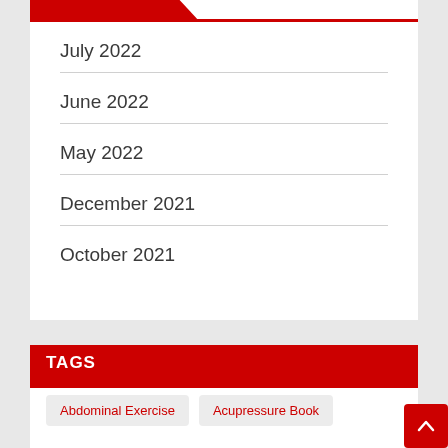July 2022
June 2022
May 2022
December 2021
October 2021
TAGS
Abdominal Exercise
Acupressure Book